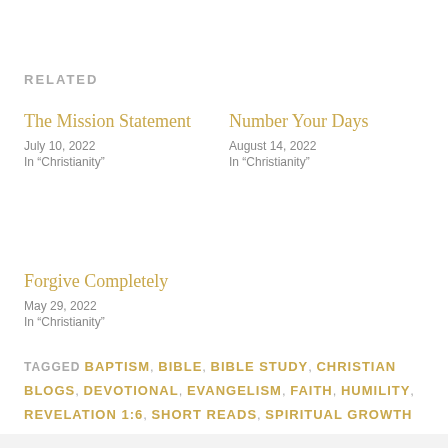RELATED
The Mission Statement
July 10, 2022
In "Christianity"
Number Your Days
August 14, 2022
In "Christianity"
Forgive Completely
May 29, 2022
In "Christianity"
TAGGED BAPTISM, BIBLE, BIBLE STUDY, CHRISTIAN BLOGS, DEVOTIONAL, EVANGELISM, FAITH, HUMILITY, REVELATION 1:6, SHORT READS, SPIRITUAL GROWTH